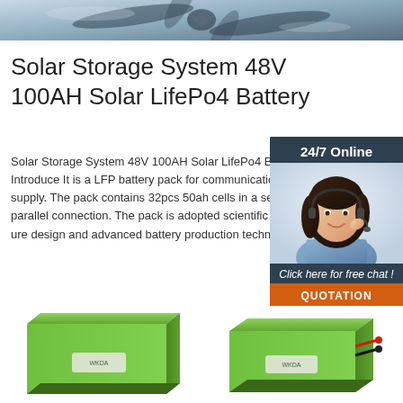[Figure (photo): Top banner image showing a drone or helicopter propeller, blue-gray metallic tones]
Solar Storage System 48V 100AH Solar LifePo4 Battery
Solar Storage System 48V 100AH Solar LifePo4 Battery Introduce It is a LFP battery pack for communication power supply. The pack contains 32pcs 50ah cells in a series and parallel connection. The pack is adopted scientific internal structure design and advanced battery production technology.
[Figure (photo): Chat widget sidebar showing a woman with headset and 24/7 Online text, Click here for free chat, and QUOTATION button]
[Figure (other): Orange Get Price button]
[Figure (photo): Two green LiFePo4 battery boxes shown at the bottom of the page]